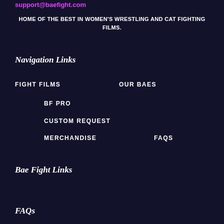support@baefight.com
HOME OF THE BEST IN WOMEN'S WRESTLING AND CAT FIGHTING FILMS.
Navigation Links
FIGHT FILMS
OUR BAES
BF PRO
CUSTOM REQUEST
MERCHANDISE
FAQS
Bae Fight Links
FAQs